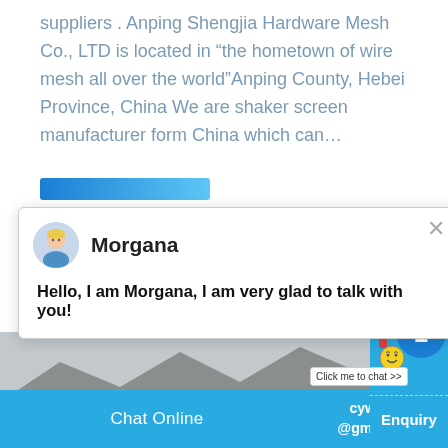suppliers . Anping Shengjia Hardware Mesh Co., LTD is located in “the hometown of wire mesh all over the world”Anping County, Hebei Province, China We are shaker screen manufacturer form China which can…
[Figure (screenshot): Chat popup with avatar of Morgana, showing greeting message: Hello, I am Morgana, I am very glad to talk with you!]
[Figure (photo): Mining/quarry site with conveyor belts and crushed stone piles, mountains in background]
[Figure (screenshot): Right side panel showing teal/blue widget with badge number 1 and Click me to chat button, Enquiry text, chat online bar at bottom with cywaitml@gmail.com email]